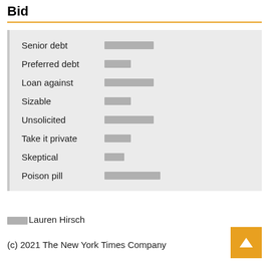Bid
Senior debt  ████████
Preferred debt  ████
Loan against  ████████
Sizable  ████
Unsolicited  ████████
Take it private  ████
Skeptical  ███
Poison pill  █████████
███Lauren Hirsch
(c) 2021 The New York Times Company